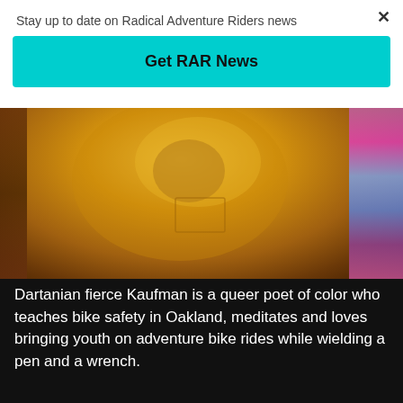Stay up to date on Radical Adventure Riders news
Get RAR News
[Figure (photo): Close-up photo of a person wearing a mustard/golden yellow t-shirt, outdoors. A colorful garment is visible on the right edge.]
Dartanian fierce Kaufman is a queer poet of color who teaches bike safety in Oakland, meditates and loves bringing youth on adventure bike rides while wielding a pen and a wrench.